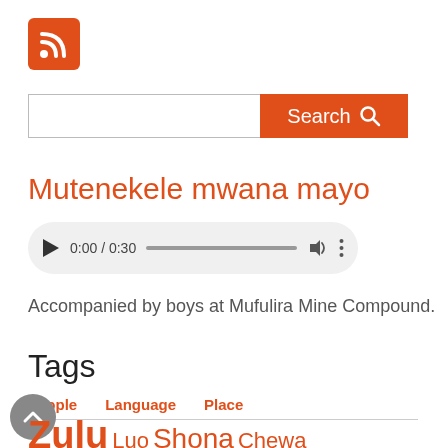[Figure (logo): RSS feed icon — orange square with white RSS symbol]
[Figure (other): Search bar with text input field and orange Search button with magnifier icon]
Mutenekele mwana mayo
[Figure (other): Audio player showing 0:00 / 0:30 with play button, progress bar, volume and menu icons on grey rounded background]
Accompanied by boys at Mufulira Mine Compound.
Tags
People   Language   Place
Zulu Luo Shona Chewa Swahili Yao